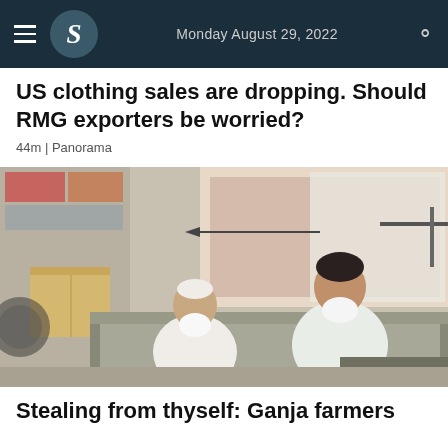Monday August 29, 2022
US clothing sales are dropping. Should RMG exporters be worried?
44m | Panorama
[Figure (photo): Two elderly men in white traditional South Asian attire sitting on a sofa inside a small shop or room with brick wall visible in background]
Stealing from thyself: Ganja farmers